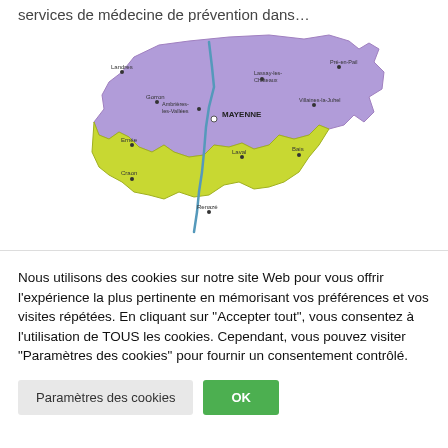services de médecine de prévention dans…
[Figure (map): Map of the Mayenne department in France, showing municipalities and districts. Purple areas indicate one zone, yellow-green areas indicate another. 'MAYENNE' is labeled prominently near the center. Various town names are marked with dots including Landres, Gorron, Lassay-les-Châteaux, Pré-en-Pail, Ambrières-les-Vallées, Villaines-la-Juhel, Ernée, Bais, Craon, Renazé.]
Nous utilisons des cookies sur notre site Web pour vous offrir l'expérience la plus pertinente en mémorisant vos préférences et vos visites répétées. En cliquant sur "Accepter tout", vous consentez à l'utilisation de TOUS les cookies. Cependant, vous pouvez visiter "Paramètres des cookies" pour fournir un consentement contrôlé.
Paramètres des cookies
OK